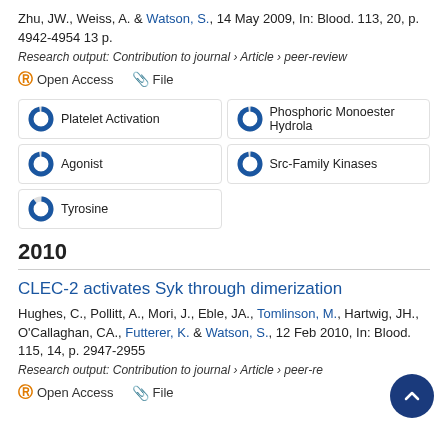Zhu, JW., Weiss, A. & Watson, S., 14 May 2009, In: Blood. 113, 20, p. 4942-4954 13 p.
Research output: Contribution to journal › Article › peer-review
Open Access   File
Platelet Activation
Phosphoric Monoester Hydrola
Agonist
Src-Family Kinases
Tyrosine
2010
CLEC-2 activates Syk through dimerization
Hughes, C., Pollitt, A., Mori, J., Eble, JA., Tomlinson, M., Hartwig, JH., O'Callaghan, CA., Futterer, K. & Watson, S., 12 Feb 2010, In: Blood. 115, 14, p. 2947-2955
Research output: Contribution to journal › Article › peer-re
Open Access   File